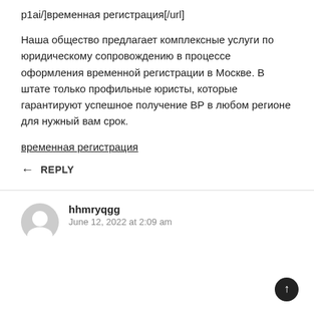p1ai/]временная регистрация[/url]
Наша общество предлагает комплексные услуги по юридическому сопровождению в процессе оформления временной регистрации в Москве. В штате только профильные юристы, которые гарантируют успешное получение ВР в любом регионе для нужный вам срок.
временная регистрация
REPLY
hhmryqgg
June 12, 2022 at 2:09 am